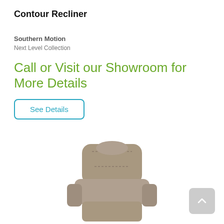Contour Recliner
Southern Motion
Next Level Collection
Call or Visit our Showroom for More Details
See Details
[Figure (photo): A taupe/gray fabric recliner chair photographed against a white background, partially cropped at the bottom of the page.]